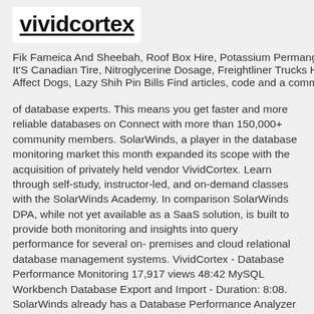vividcortex
Fik Fameica And Sheebah, Roof Box Hire, Potassium Permanganate It'S Canadian Tire, Nitroglycerine Dosage, Freightliner Trucks Hot Weather, Affect Dogs, Lazy Shih Pin Bills Find articles, code and a community of database experts. This means you get faster and more reliable databases on Connect with more than 150,000+ community members. SolarWinds, a player in the database monitoring market this month expanded its scope with the acquisition of privately held vendor VividCortex. Learn through self-study, instructor-led, and on-demand classes with the SolarWinds Academy. In comparison SolarWinds DPA, while not yet available as a SaaS solution, is built to provide both monitoring and insights into query performance for several on-premises and cloud relational database management systems. VividCortex - Database Performance Monitoring 17,917 views 48:42 MySQL Workbench Database Export and Import - Duration: 8:08. SolarWinds already has a Database Performance Analyzer offering, which will now be complemented with VividCortex's software-as-a-